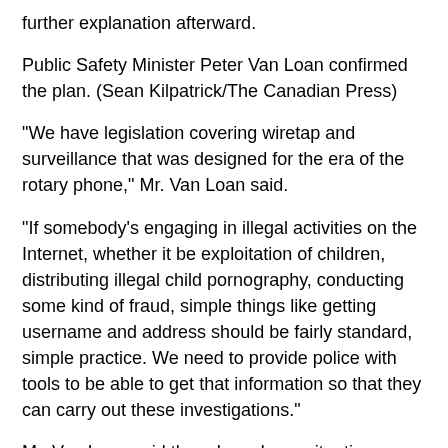further explanation afterward.
Public Safety Minister Peter Van Loan confirmed the plan. (Sean Kilpatrick/The Canadian Press)
"We have legislation covering wiretap and surveillance that was designed for the era of the rotary phone," Mr. Van Loan said.
"If somebody's engaging in illegal activities on the Internet, whether it be exploitation of children, distributing illegal child pornography, conducting some kind of fraud, simple things like getting username and address should be fairly standard, simple practice. We need to provide police with tools to be able to get that information so that they can carry out these investigations."
Mr. Van Loan said there have been situations where the police want to act quickly to stop a crime, but can't because of the current laws.
"In some of these cases, time is of the essence,"